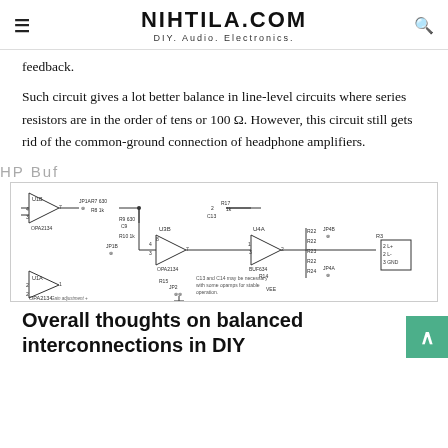NIHTILA.COM DIY. Audio. Electronics.
feedback.
Such circuit gives a lot better balance in line-level circuits where series resistors are in the order of tens or 100 Ω. However, this circuit still gets rid of the common-ground connection of headphone amplifiers.
HP Buf
[Figure (circuit-diagram): Schematic of HP Buf circuit showing OPA2134 op-amps (U1B, U1A), buffer stages (U3B OPA2134, U4A BUF634), resistors (R7-R15, R17, R22-R25), capacitors (C9, C13, C14), jumpers (JP1A, JP1B, JP2, JP4A, JP4B), and output connector (P3) with L+, L-, GND. Note: C13 and C14 may be necessary with some opamps for stable operation.]
Overall thoughts on balanced interconnections in DIY